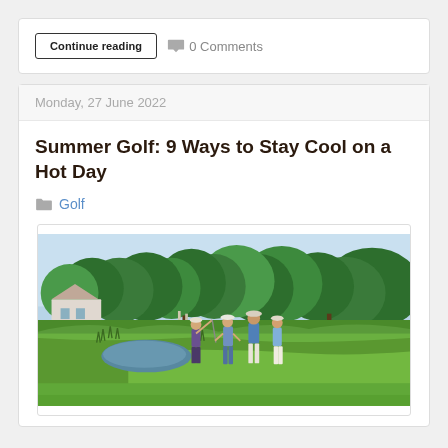Continue reading   0 Comments
Monday, 27 June 2022
Summer Golf: 9 Ways to Stay Cool on a Hot Day
Golf
[Figure (photo): Golfers on a lush green golf course on a sunny summer day, surrounded by dense green trees and blue sky. Four golfers visible from behind, one mid-swing.]